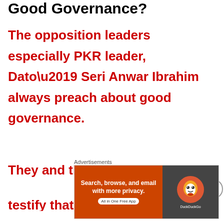Good Governance?
The opposition leaders especially PKR leader, Dato’ Seri Anwar Ibrahim always preach about good governance.
They and their supporters always
Advertisements
[Figure (other): DuckDuckGo advertisement banner: Search, browse, and email with more privacy. All in One Free App. Shows DuckDuckGo duck logo on dark background.]